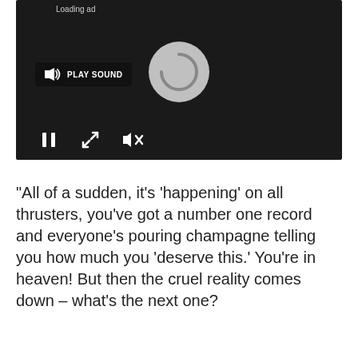[Figure (screenshot): Video player UI with dark background, showing a loading spinner in the center, a 'PLAY SOUND' button with speaker icon on the left, and playback controls (pause, expand, mute) at the bottom.]
"All of a sudden, it's 'happening' on all thrusters, you've got a number one record and everyone's pouring champagne telling you how much you 'deserve this.' You're in heaven! But then the cruel reality comes down – what's the next one?